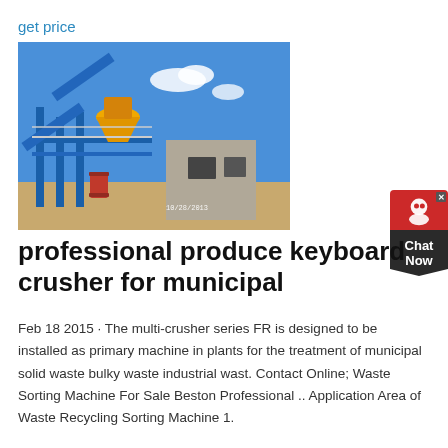get price
[Figure (photo): Industrial crushing plant with blue steel structure, conveyor belts, yellow cone crusher, and a concrete building. Date stamp 10/28/2013 visible.]
professional produce keyboard crusher for municipal
Feb 18 2015 · The multi-crusher series FR is designed to be installed as primary machine in plants for the treatment of municipal solid waste bulky waste industrial wast. Contact Online; Waste Sorting Machine For Sale Beston Professional .. Application Area of Waste Recycling Sorting Machine 1.